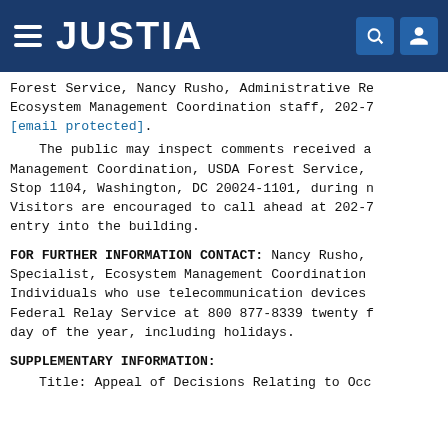JUSTIA
Forest Service, Nancy Rusho, Administrative Re- Ecosystem Management Coordination staff, 202-7 [email protected].
The public may inspect comments received a- Management Coordination, USDA Forest Service, Stop 1104, Washington, DC 20024-1101, during n- Visitors are encouraged to call ahead at 202-7 entry into the building.
FOR FURTHER INFORMATION CONTACT: Nancy Rusho, Specialist, Ecosystem Management Coordination Individuals who use telecommunication devices Federal Relay Service at 800 877-8339 twenty f- day of the year, including holidays.
SUPPLEMENTARY INFORMATION:
Title: Appeal of Decisions Relating to Occ-